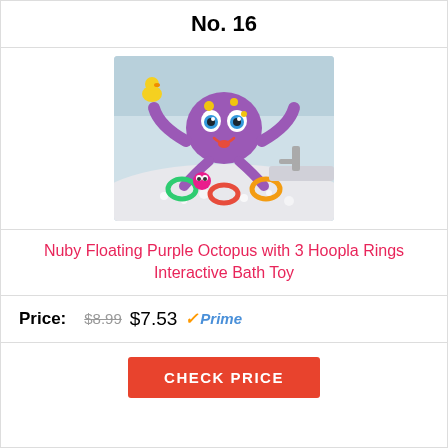No. 16
[Figure (photo): Nuby Floating Purple Octopus bath toy in a bathtub with 3 colorful hoopla rings, bubbles in the background]
Nuby Floating Purple Octopus with 3 Hoopla Rings Interactive Bath Toy
Price: $8.99 $7.53 Prime
CHECK PRICE